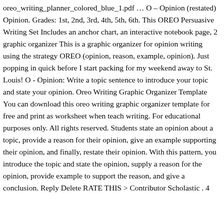oreo_writing_planner_colored_blue_1.pdf … O – Opinion (restated) Opinion. Grades: 1st, 2nd, 3rd, 4th, 5th, 6th. This OREO Persuasive Writing Set Includes an anchor chart, an interactive notebook page, 2 graphic organizer This is a graphic organizer for opinion writing using the strategy OREO (opinion, reason, example, opinion). Just popping in quick before I start packing for my weekend away to St. Louis! O - Opinion: Write a topic sentence to introduce your topic and state your opinion. Oreo Writing Graphic Organizer Template You can download this oreo writing graphic organizer template for free and print as worksheet when teach writing. For educational purposes only. All rights reserved. Students state an opinion about a topic, provide a reason for their opinion, give an example supporting their opinion, and finally, restate their opinion. With this pattern, you introduce the topic and state the opinion, supply a reason for the opinion, provide example to support the reason, and give a conclusion. Reply Delete RATE THIS > Contributor Scholastic . 4